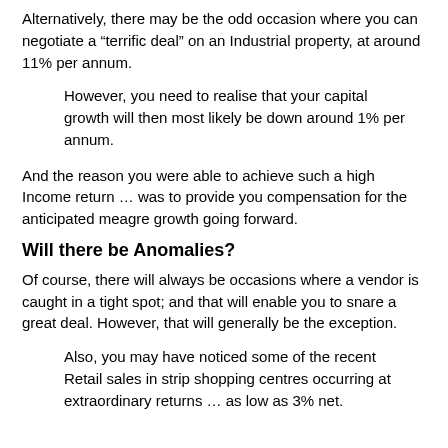Alternatively, there may be the odd occasion where you can negotiate a “terrific deal” on an Industrial property, at around 11% per annum.
However, you need to realise that your capital growth will then most likely be down around 1% per annum.
And the reason you were able to achieve such a high Income return … was to provide you compensation for the anticipated meagre growth going forward.
Will there be Anomalies?
Of course, there will always be occasions where a vendor is caught in a tight spot; and that will enable you to snare a great deal. However, that will generally be the exception.
Also, you may have noticed some of the recent Retail sales in strip shopping centres occurring at extraordinary returns … as low as 3% net.